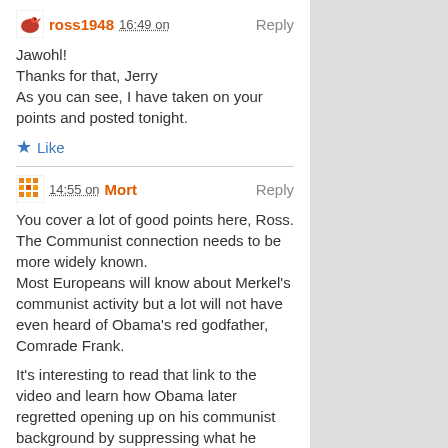ross1948  16:49 on  Reply
Jawohl!
Thanks for that, Jerry
As you can see, I have taken on your points and posted tonight.
★ Like
14:55 on Mort  Reply
You cover a lot of good points here, Ross.
The Communist connection needs to be more widely known.
Most Europeans will know about Merkel's communist activity but a lot will not have even heard of Obama's red godfather, Comrade Frank.
It's interesting to read that link to the video and learn how Obama later regretted opening up on his communist background by suppressing what he admitted.
I never for a minute figured Obama was a Muslim, any more than he was a Christian. He attended a